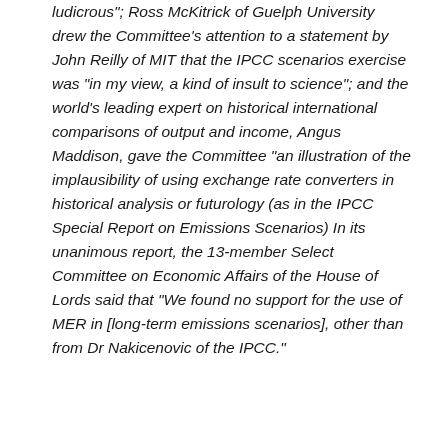ludicrous"; Ross McKitrick of Guelph University drew the Committee's attention to a statement by John Reilly of MIT that the IPCC scenarios exercise was “in my view, a kind of insult to science"; and the world’s leading expert on historical international comparisons of output and income, Angus Maddison, gave the Committee “an illustration of the implausibility of using exchange rate converters in historical analysis or futurology (as in the IPCC Special Report on Emissions Scenarios) In its unanimous report, the 13-member Select Committee on Economic Affairs of the House of Lords said that “We found no support for the use of MER in [long-term emissions scenarios], other than from Dr Nakicenovic of the IPCC.”